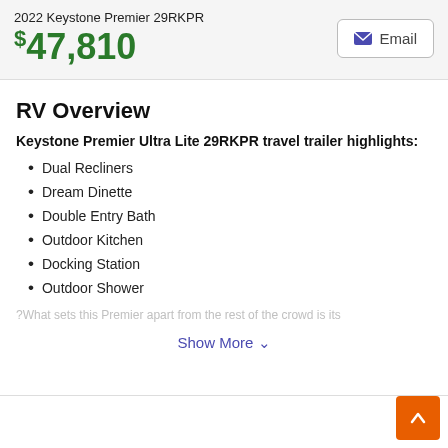2022 Keystone Premier 29RKPR
$47,810
RV Overview
Keystone Premier Ultra Lite 29RKPR travel trailer highlights:
Dual Recliners
Dream Dinette
Double Entry Bath
Outdoor Kitchen
Docking Station
Outdoor Shower
?What sets this Premier apart from the rest of the crowd is its
Show More ✓